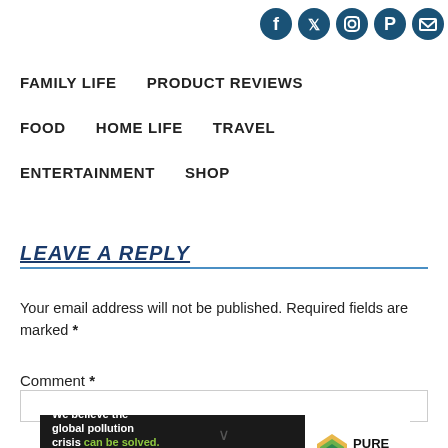[Figure (other): Social media icons row: Facebook, Twitter, Instagram, Pinterest, Email — all in dark blue circular icons]
FAMILY LIFE   PRODUCT REVIEWS
FOOD   HOME LIFE   TRAVEL
ENTERTAINMENT   SHOP
LEAVE A REPLY
Your email address will not be published. Required fields are marked *
Comment *
[Figure (other): Advertisement banner for Pure Earth: 'We believe the global pollution crisis can be solved. In a world where pollution doesn't stop at borders, we can all be part of the solution. JOIN US.' with Pure Earth logo]